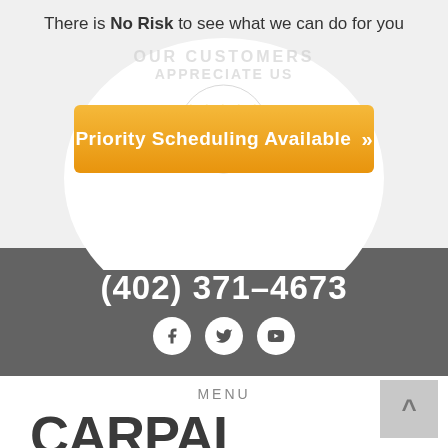There is No Risk to see what we can do for you
[Figure (infographic): Orange button with text 'Priority Scheduling Available' and double chevron arrows, overlaid on a circular graphic with faded text]
(402) 371-4673
[Figure (infographic): Three social media icons: Facebook, Twitter, YouTube — white circles on gray background]
MENU
CARPAL TUNNEL IN NORFOLK?